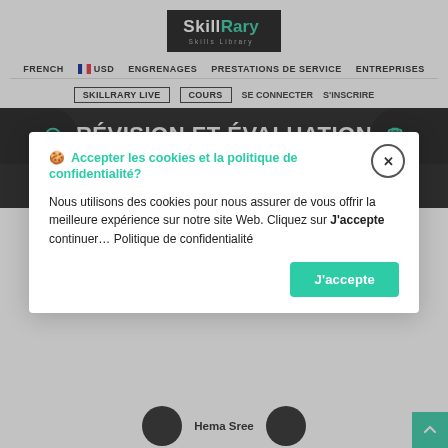[Figure (logo): SkillRary Skills Library logo — white text on black background]
FRENCH  USD  ENGRENAGES  PRESTATIONS DE SERVICE  ENTREPRISES
SKILLRARY LIVE  COURS  SE CONNECTER  S'INSCRIRE
RÉVISION ET ÉVALUATION DU COURS
🍪 Accepter les cookies et la politique de confidentialité?
Nous utilisons des cookies pour nous assurer de vous offrir la meilleure expérience sur notre site Web. Cliquez sur J'accepte continuer… Politique de confidentialité
J'accepte
Hema Sree